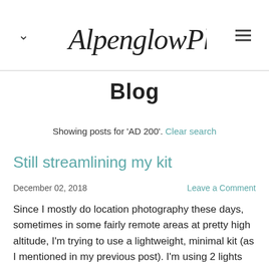Alpenglow Photo
Blog
Showing posts for 'AD200'. Clear search
Still streamlining my kit
December 02, 2018   Leave a Comment
Since I mostly do location photography these days, sometimes in some fairly remote areas at pretty high altitude, I'm trying to use a lightweight, minimal kit (as I mentioned in my previous post). I'm using 2 lights